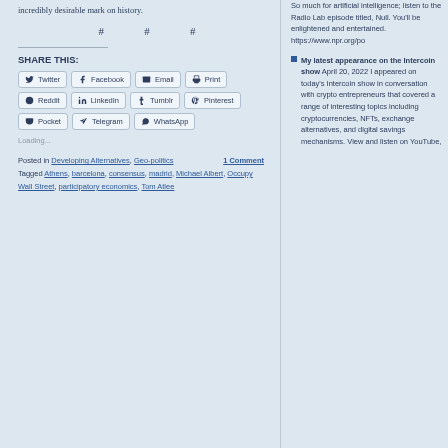incredibly desirable mark on history.
# # #
SHARE THIS:
Twitter Facebook Email Print Reddit LinkedIn Tumblr Pinterest Pocket Telegram WhatsApp
Loading...
Posted in Developing Alternatives, Geo-politics
Tagged Athens, barcelona, consensus, madrid, Michael Albert, Occupy Wall Street, participatory economics, Tom Atlee
1 Comment
So much for artificial intelligence; listen to the Radio Lab episode titled, Null. You'll be enlightened and entertained. https://www.npr.org/po
My latest appearance on the Intercoin show April 20, 2022 I appeared on today's Intercoin show in conversation with crypto entrepreneurs that covered a range of interesting topics including cryptocurrencies, NFTs, exchange alternatives, and digital savings mechanisms. View and listen on YouTube,